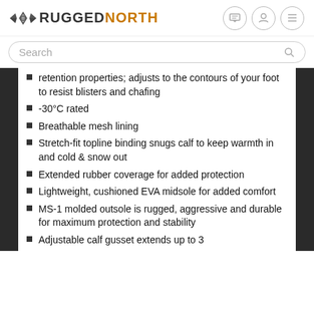RUGGEDNORTH
Search
retention properties; adjusts to the contours of your foot to resist blisters and chafing
-30°C rated
Breathable mesh lining
Stretch-fit topline binding snugs calf to keep warmth in and cold & snow out
Extended rubber coverage for added protection
Lightweight, cushioned EVA midsole for added comfort
MS-1 molded outsole is rugged, aggressive and durable for maximum protection and stability
Adjustable calf gusset extends up to 3